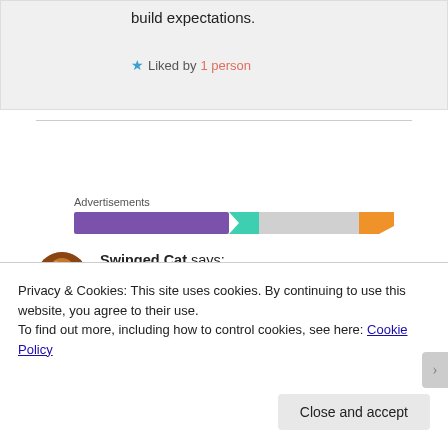build expectations.
★ Liked by 1 person
Advertisements
[Figure (other): Advertisement banner with purple, teal, and orange colored segments]
Swinged Cat says: FEBRUARY 11, 2020 AT 7:30 PM
[Figure (photo): Circular avatar photo of an orange cat]
All I can say is, thank you.
Privacy & Cookies: This site uses cookies. By continuing to use this website, you agree to their use.
To find out more, including how to control cookies, see here: Cookie Policy
Close and accept